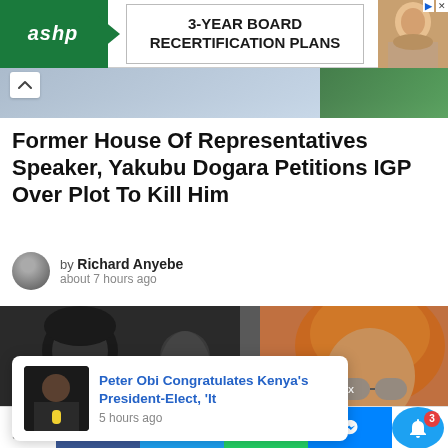[Figure (photo): ASHP advertisement banner with logo, '3-YEAR BOARD RECERTIFICATION PLANS' text, and a photo of a woman]
[Figure (photo): Partial hero image showing a person in light blue clothing against a green background]
Former House Of Representatives Speaker, Yakubu Dogara Petitions IGP Over Plot To Kill Him
by Richard Anyebe
about 7 hours ago
[Figure (photo): Split image: left side shows soldiers in gas masks, right side shows a woman in orange headwrap and sunglasses]
[Figure (photo): Popup card: thumbnail of Peter Obi speaking at microphone, with text 'Peter Obi Congratulates Kenya's President-Elect, 'It' and '5 hours ago']
2 Shares | Facebook | Twitter | WhatsApp | Messenger | Bell notification (3)